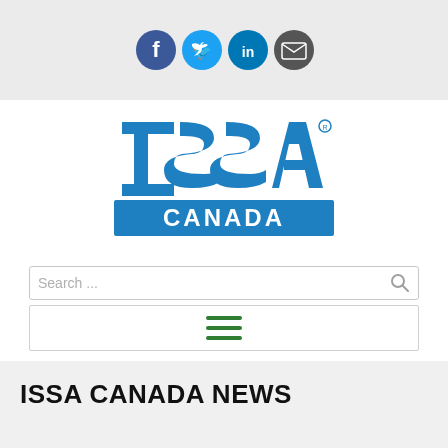[Figure (logo): Social media share icons: Facebook (blue circle), Twitter (blue circle), LinkedIn (blue circle), Email (dark grey circle)]
[Figure (logo): ISSA Canada logo — large blue stylized letters ISSA with registered trademark symbol, and a blue rectangle banner underneath with white text CANADA]
[Figure (screenshot): Search input bar with placeholder text 'Search ...' and a magnifying glass icon on the right]
[Figure (screenshot): Hamburger menu button — three horizontal green lines centered in a white bordered rectangle]
ISSA CANADA NEWS